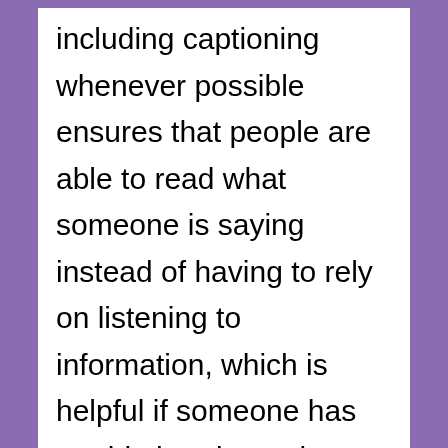including captioning whenever possible ensures that people are able to read what someone is saying instead of having to rely on listening to information, which is helpful if someone has trouble hearing or is sensitive to sound. One of my friends captions all of the videos in